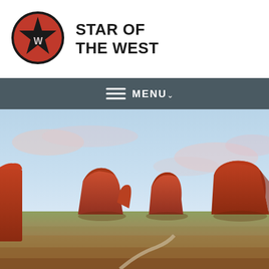Star of the West
[Figure (logo): Circular logo with red background, black star in center with letter W, black border ring]
STAR OF THE WEST
[Figure (other): Navigation bar with hamburger menu icon and MENU text with chevron on dark slate background]
[Figure (photo): Panoramic photograph of Monument Valley at dusk or dawn showing three large red sandstone buttes (the Mittens and Merrick Butte) rising from a flat desert landscape with scrubby vegetation and a dirt road, under a pale blue sky with soft pink clouds]